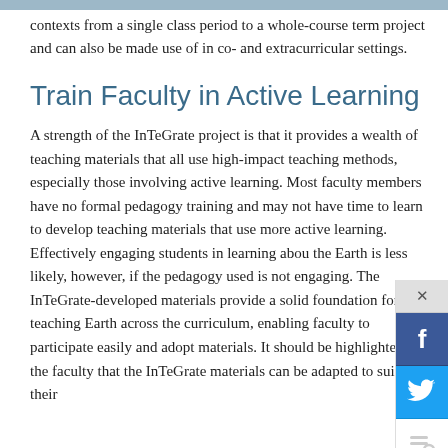approaches can also be scaled and modified to fit contexts from a single class period to a whole-course term project and can also be made use of in co- and extracurricular settings.
Train Faculty in Active Learning
A strength of the InTeGrate project is that it provides a wealth of teaching materials that all use high-impact teaching methods, especially those involving active learning. Most faculty members have no formal pedagogy training and may not have time to learn to develop teaching materials that use more active learning. Effectively engaging students in learning about the Earth is less likely, however, if the pedagogy used is not engaging. The InTeGrate-developed materials provide a solid foundation for teaching Earth across the curriculum, enabling faculty to participate easily and adopt materials. It should be highlighted to the faculty that the InTeGrate materials can be adapted to suit their